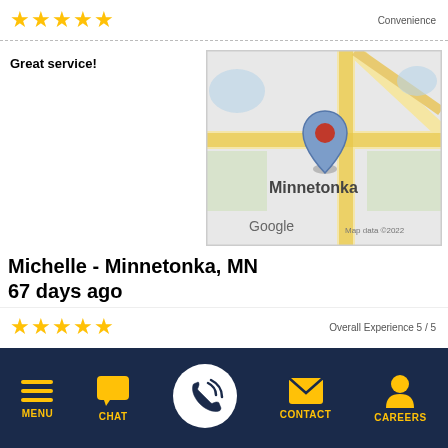[Figure (other): Five yellow star rating with Convenience label]
Great service!
[Figure (map): Google map showing Minnetonka, MN location with red pin marker. Map data ©2022]
Michelle - Minnetonka, MN
67 days ago
Review of Comfort Matters
Sam was awesome. He was helpful and kind. Thank you, comfort matters!
[Figure (other): Five yellow star rating with Overall Experience 5/5 label]
MENU  CHAT  CONTACT  CAREERS